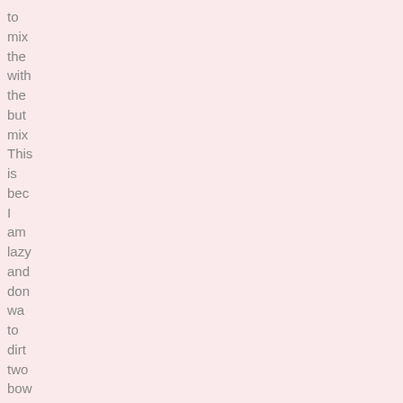to mix the with the but mix This is bec I am lazy and don wa to dirt two bow 4. Stir in